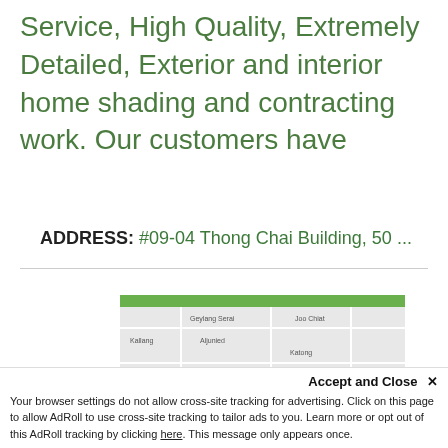Service, High Quality, Extremely Detailed, Exterior and interior home shading and contracting work. Our customers have
ADDRESS: #09-04 Thong Chai Building, 50 ...
[Figure (map): A partial street map showing an area with roads and text labels, with a green bar at the top.]
Accept and Close ×
Your browser settings do not allow cross-site tracking for advertising. Click on this page to allow AdRoll to use cross-site tracking to tailor ads to you. Learn more or opt out of this AdRoll tracking by clicking here. This message only appears once.